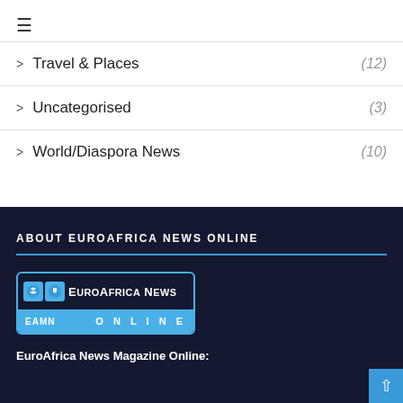≡
> Travel & Places (12)
> Uncategorised (3)
> World/Diaspora News (10)
ABOUT EUROAFRICA NEWS ONLINE
[Figure (logo): EuroAfrica News Online logo with EAMN branding and blue banner reading ONLINE]
EuroAfrica News Magazine Online: